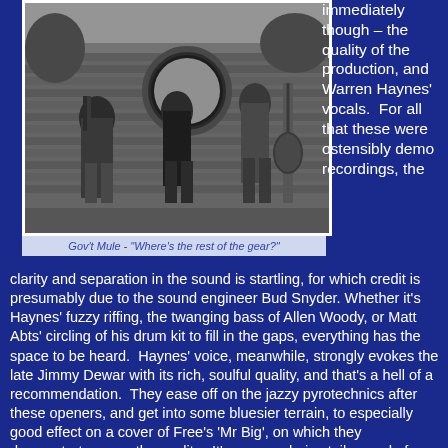[Figure (photo): Black and white photo of Gov't Mule band members posed against a brick wall with a circular window, outdoors with grass and trees visible.]
Gov't Mule - "Where's the rest of the gear?"
immediately though – the quality of the production, and Warren Haynes' vocals.  For all that these were ostensibly demo recordings, the clarity and separation in the sound is startling, for which credit is presumably due to the sound engineer Bud Snyder.  Whether it's Haynes' fuzzy riffing, the twanging bass of Allen Woody, or Matt Abts' circling of his drum kit to fill in the gaps, everything has the space to be heard.  Haynes' voice, meanwhile, strongly evokes the late Jimmy Dewar with its rich, soulful quality, and that's a hell of a recommendation.  They ease off on the jazzy pyrotechnics after these openers, and get into some bluesier terrain, to especially good effect on a cover of Free's 'Mr Big', on which they demonstrate an earthy quality.  It's a song choice tailor-made for Haynes' voice, and just one instance of the marvelous rubber band textures of Woody's bass.  Similar qualities are evident a